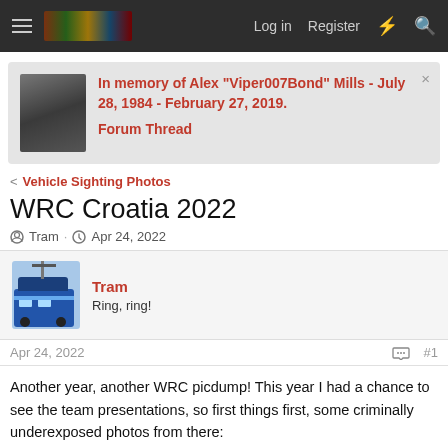Log in  Register
In memory of Alex "Viper007Bond" Mills - July 28, 1984 - February 27, 2019.
Forum Thread
Vehicle Sighting Photos
WRC Croatia 2022
Tram · Apr 24, 2022
Tram
Ring, ring!
Apr 24, 2022  #1
Another year, another WRC picdump! This year I had a chance to see the team presentations, so first things first, some criminally underexposed photos from there: